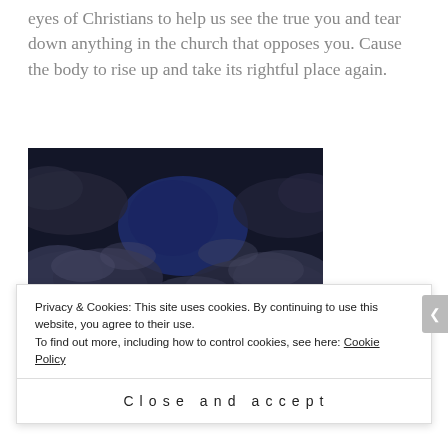eyes of Christians to help us see the true you and tear down anything in the church that opposes you. Cause the body to rise up and take its rightful place again.
[Figure (photo): Dark night sky photograph with clouds and a patch of deep blue visible through the cloud cover]
Privacy & Cookies: This site uses cookies. By continuing to use this website, you agree to their use. To find out more, including how to control cookies, see here: Cookie Policy
Close and accept